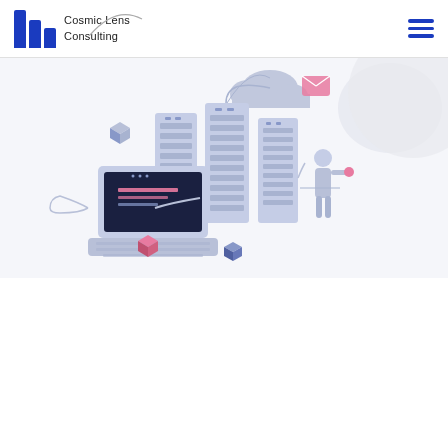Cosmic Lens Consulting
[Figure (illustration): Isometric illustration of data center servers, laptop, cloud, and a person managing network infrastructure. Decorative 3D elements in blue/grey tones with pink accent cubes.]